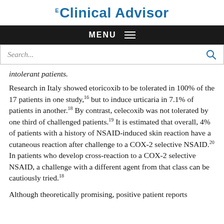Clinical Advisor
intolerant patients.
Research in Italy showed etoricoxib to be tolerated in 100% of the 17 patients in one study,16 but to induce urticaria in 7.1% of patients in another.18 By contrast, celecoxib was not tolerated by one third of challenged patients.19 It is estimated that overall, 4% of patients with a history of NSAID-induced skin reaction have a cutaneous reaction after challenge to a COX-2 selective NSAID.20 In patients who develop cross-reaction to a COX-2 selective NSAID, a challenge with a different agent from that class can be cautiously tried.18
Although theoretically promising, positive patient reports...